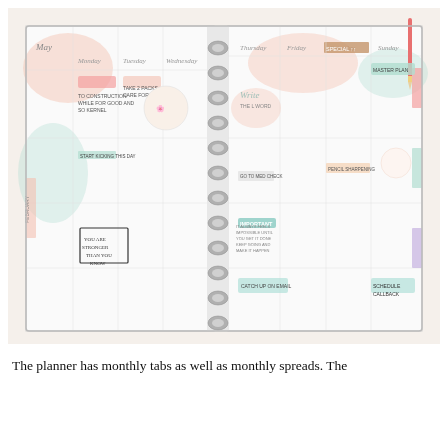[Figure (photo): Open planner/agenda book photographed from above. The planner shows a weekly spread with days labeled Monday through Sunday. It has colorful decorative stickers, handwritten notes, floral illustrations, watercolor washi tape accents in pink, mint, and peach. A disc-binding system (metal discs) runs down the center spine. Tabs visible on the right side. A pen/pencil rests at top right corner.]
The planner has monthly tabs as well as monthly spreads. The